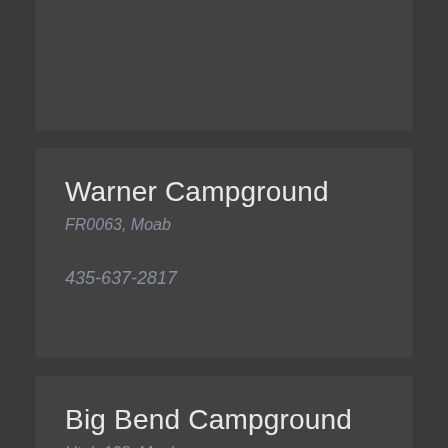Warner Campground
FR0063, Moab
435-637-2817
Big Bend Campground
Utah 128, Moab
435-259-2100